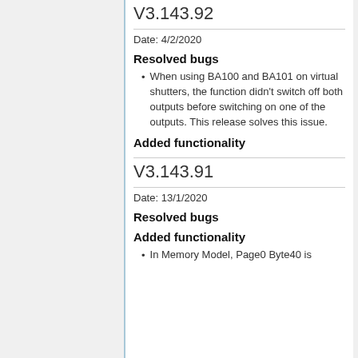V3.143.92
Date: 4/2/2020
Resolved bugs
When using BA100 and BA101 on virtual shutters, the function didn't switch off both outputs before switching on one of the outputs. This release solves this issue.
Added functionality
V3.143.91
Date: 13/1/2020
Resolved bugs
Added functionality
In Memory Model, Page0 Byte40 is